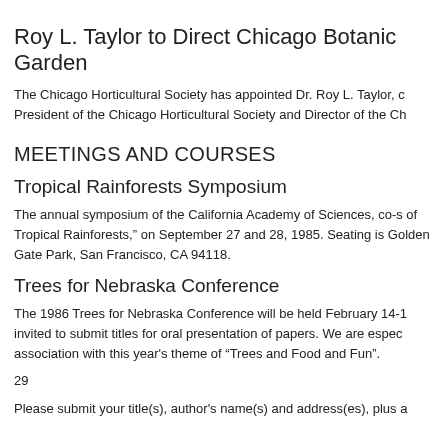Roy L. Taylor to Direct Chicago Botanic Garden
The Chicago Horticultural Society has appointed Dr. Roy L. Taylor, c President of the Chicago Horticultural Society and Director of the Ch
MEETINGS AND COURSES
Tropical Rainforests Symposium
The annual symposium of the California Academy of Sciences, co-s of Tropical Rainforests," on September 27 and 28, 1985. Seating is Golden Gate Park, San Francisco, CA 94118.
Trees for Nebraska Conference
The 1986 Trees for Nebraska Conference will be held February 14-1 invited to submit titles for oral presentation of papers. We are espec association with this year's theme of "Trees and Food and Fun".
29
Please submit your title(s), author's name(s) and address(es), plus a